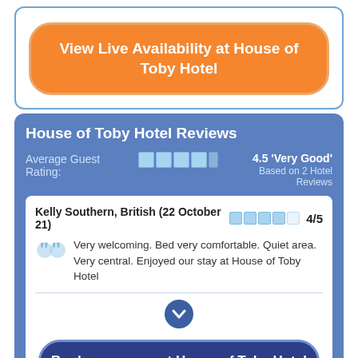View Live Availability at House of Toby Hotel
House of Toby Hotel Reviews
Average Guest Rating: 4.5 'Very Good' Based on 2 Hotel Reviews
Kelly Southern, British (22 October 21) 4/5
Very welcoming. Bed very comfortable. Quiet area. Very central. Enjoyed our stay at House of Toby Hotel
Book your room at House of Toby Hotel